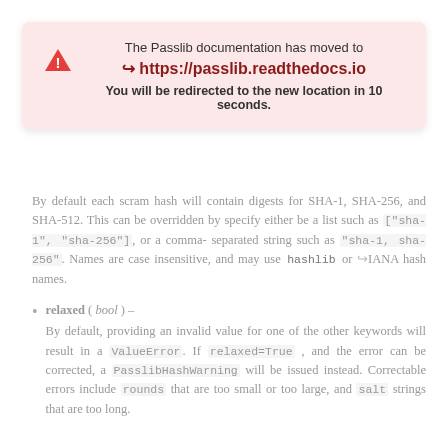The Passlib documentation has moved to
➤ https://passlib.readthedocs.io
You will be redirected to the new location in 10 seconds.
By default each scram hash will contain digests for SHA-1, SHA-256, and SHA-512. This can be overridden by specify either be a list such as ["sha-1", "sha-256"], or a comma-separated string such as "sha-1, sha-256". Names are case insensitive, and may use hashlib or IANA hash names.
relaxed ( bool ) –
By default, providing an invalid value for one of the other keywords will result in a ValueError. If relaxed=True , and the error can be corrected, a PasslibHashWarning will be issued instead. Correctable errors include rounds that are too small or too large, and salt strings that are too long.